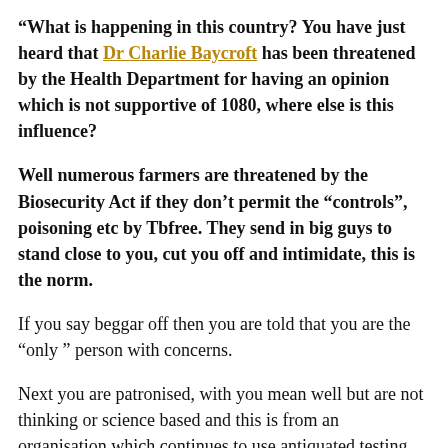“What is happening in this country? You have just heard that Dr Charlie Baycroft has been threatened by the Health Department for having an opinion which is not supportive of 1080, where else is this influence?
Well numerous farmers are threatened by the Biosecurity Act if they don’t permit the “controls”, poisoning etc by Tbfree. They send in big guys to stand close to you, cut you off and intimidate, this is the norm.
If you say beggar off then you are told that you are the “only” person with concerns.
Next you are patronised, with you mean well but are not thinking or science based and this is from an organisation which continues to use antiquated testing and fails to declare us Tbfree when we effectively are.
Then a man who came from UK to do a documentary, how